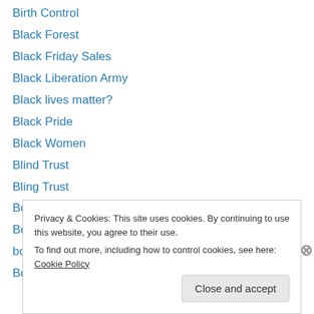Birth Control
Black Forest
Black Friday Sales
Black Liberation Army
Black lives matter?
Black Pride
Black Women
Blind Trust
Bling Trust
Bob Dylan
Bob McCulloch
boots on the ground
Border Crossings/Mexico
Privacy & Cookies: This site uses cookies. By continuing to use this website, you agree to their use.
To find out more, including how to control cookies, see here: Cookie Policy
Close and accept